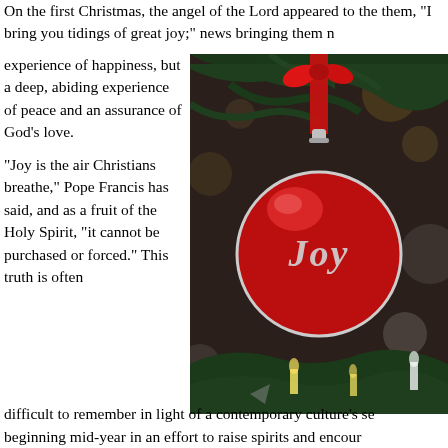On the first Christmas, the angel of the Lord appeared to the them, "I bring you tidings of great joy;" news bringing them n
experience of happiness, but a deep, abiding experience of peace and an assurance of God's love.

"Joy is the air Christians breathe," Pope Francis has said, and as a fruit of the Holy Spirit, "it cannot be purchased or forced." This truth is often
[Figure (photo): A red Christmas ornament with the word 'Joy' written on it in silver cursive script, hanging from a Christmas tree with green pine branches and bokeh lights in the background.]
difficult to remember in light of a contemporary culture's se beginning mid-year in an effort to raise spirits and encour